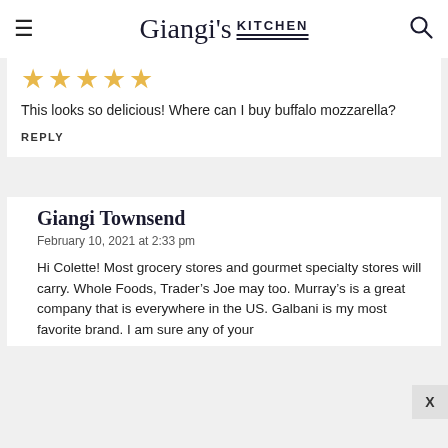Giangi's Kitchen
[Figure (other): Five gold star rating icons]
This looks so delicious! Where can I buy buffalo mozzarella?
REPLY
Giangi Townsend
February 10, 2021 at 2:33 pm
Hi Colette! Most grocery stores and gourmet specialty stores will carry. Whole Foods, Trader’s Joe may too. Murray’s is a great company that is everywhere in the US. Galbani is my most favorite brand. I am sure any of your